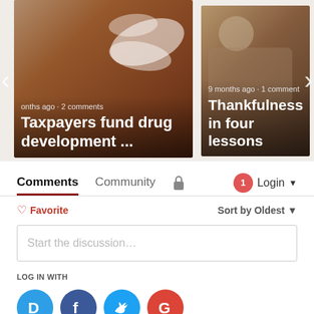[Figure (screenshot): Carousel card showing pills/medication image with text overlay: 'Taxpayers fund drug development ...' with metadata 'months ago · 2 comments']
[Figure (screenshot): Carousel card showing a child/boy image with text overlay: 'Thankfulness in four lessons' with metadata '9 months ago · 1 comment']
Comments  Community  🔒  1  Login ▾
♡ Favorite    Sort by Oldest ▾
Start the discussion…
LOG IN WITH
[Figure (logo): Social login icons: Disqus (D), Facebook (f), Twitter (bird), Google (G)]
OR SIGN UP WITH DISQUS ?
Name